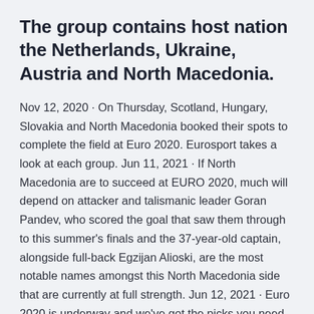The group contains host nation the Netherlands, Ukraine, Austria and North Macedonia.
Nov 12, 2020 · On Thursday, Scotland, Hungary, Slovakia and North Macedonia booked their spots to complete the field at Euro 2020. Eurosport takes a look at each group. Jun 11, 2021 · If North Macedonia are to succeed at EURO 2020, much will depend on attacker and talismanic leader Goran Pandev, who scored the goal that saw them through to this summer's finals and the 37-year-old captain, alongside full-back Egzijan Alioski, are the most notable names amongst this North Macedonia side that are currently at full strength. Jun 12, 2021 · Euro 2020 is underway and we've got the picks you need to make some money — even if you bet against us. Here are the picks you need for all three...